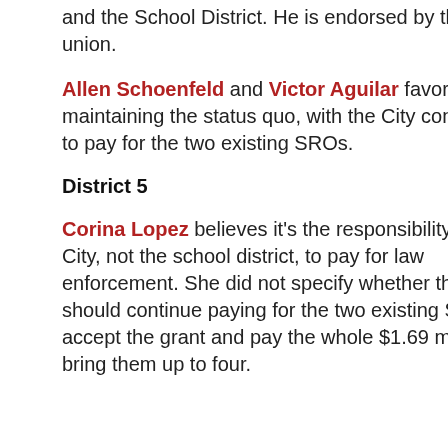and the School District. He is endorsed by the Police union.
Allen Schoenfeld and Victor Aguilar favor maintaining the status quo, with the City continuing to pay for the two existing SROs.
District 5
Corina Lopez believes it's the responsibility of the City, not the school district, to pay for law enforcement. She did not specify whether the City should continue paying for the two existing SROs or accept the grant and pay the whole $1.69 million to bring them up to four.